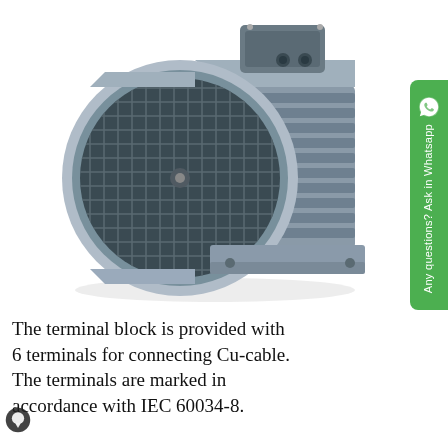[Figure (photo): Product photo of a grey industrial electric motor with square ventilation grille on front face and cooling fins on the side body, mounting base at bottom, terminal box on top. Photographed on white background at an isometric angle.]
The terminal block is provided with 6 terminals for connecting Cu-cable. The terminals are marked in accordance with IEC 60034-8.